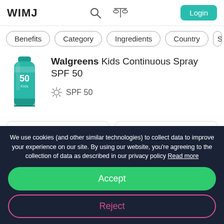WIMJ
Benefits  Category  Ingredients  Country  S
[Figure (photo): Green spray bottle of Walgreens Kids Continuous Spray SPF 50 sunscreen]
Walgreens Kids Continuous Spray SPF 50
SPF 50
WORKS FOR
Sun protection
Anti-aging
KEY INGREDIENTS
Mineral Oil
Panthenol
We use cookies (and other similar technologies) to collect data to improve your experience on our site. By using our website, you're agreeing to the collection of data as described in our privacy policy Read more
Accept
Reject